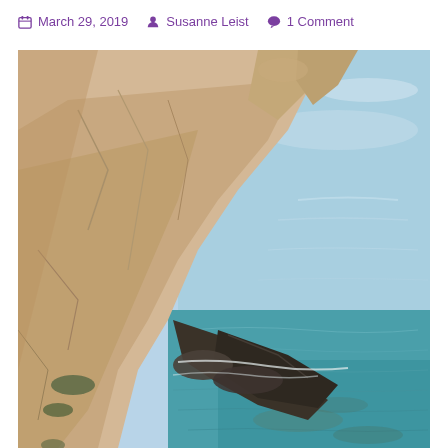March 29, 2019   Susanne Leist   1 Comment
[Figure (photo): Aerial or elevated view of rocky coastal cliffs meeting clear blue-turquoise Mediterranean sea water. Large tan/beige limestone rocks on the left diagonal, dark rocks jutting into the water, calm light-blue water in the upper right and deeper turquoise in the lower right.]